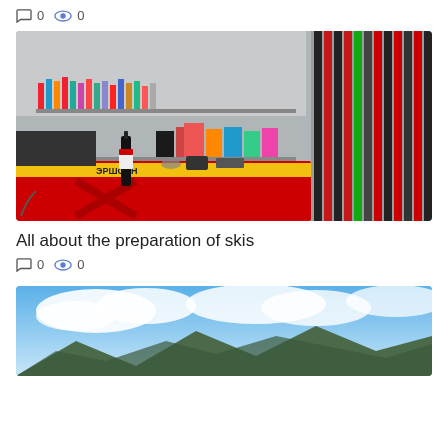0  0
[Figure (photo): A ski preparation shop interior with a red waxing table, ski equipment, bottles of wax and supplies on shelves, and ski poles and skis leaning against the wall.]
All about the preparation of skis
0  0
[Figure (photo): A landscape photo showing blue sky with clouds and mountains in the background.]